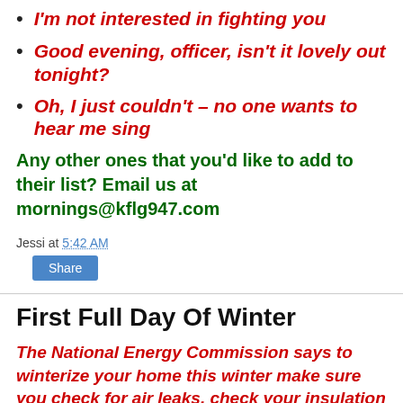I'm not interested in fighting you
Good evening, officer, isn't it lovely out tonight?
Oh, I just couldn't – no one wants to hear me sing
Any other ones that you'd like to add to their list? Email us at mornings@kflg947.com
Jessi at 5:42 AM
Share
First Full Day Of Winter
The National Energy Commission says to winterize your home this winter make sure you check for air leaks, check your insulation & weather stripping and don't forget to check your heating system. That's great for most of the country, but what about those warmer